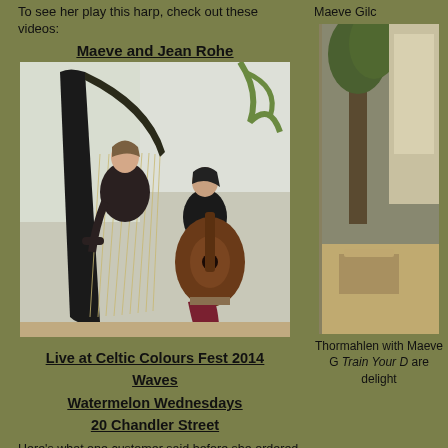To see her play this harp, check out these videos:
Maeve Gilch
Maeve and Jean Rohe
[Figure (photo): Two women playing music together - one playing a large celtic harp on the left and one playing an acoustic guitar on the right, in a bright room.]
Live at Celtic Colours Fest 2014
Waves
Watermelon Wednesdays
20 Chandler Street
Here's what one customer said before she ordered her harp:
"I want to take a moment to thank you for taking the time to answer questions and to provide referrals. I know you sell a lot of harps and it would be easy to blow off dithering potential clients, of which I'm
[Figure (photo): Partially visible photo on the right side - outdoor or indoor scene, partially cropped.]
Thormahlen with Maeve G Train Your D are delight